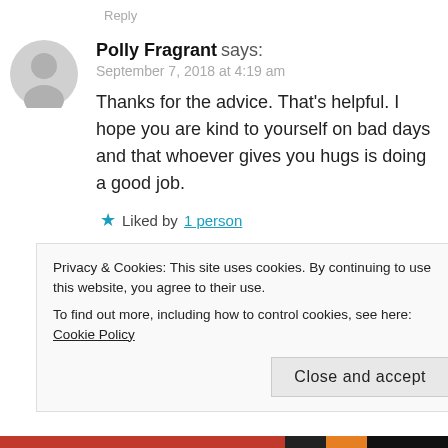Reply
Polly Fragrant says:
September 7, 2018 at 4:19 am
Thanks for the advice. That's helpful. I hope you are kind to yourself on bad days and that whoever gives you hugs is doing a good job.
★ Liked by 1 person
Privacy & Cookies: This site uses cookies. By continuing to use this website, you agree to their use.
To find out more, including how to control cookies, see here: Cookie Policy
Close and accept